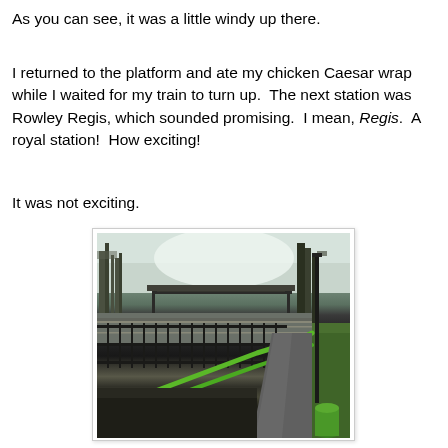As you can see, it was a little windy up there.
I returned to the platform and ate my chicken Caesar wrap while I waited for my train to turn up.  The next station was Rowley Regis, which sounded promising.  I mean, Regis.  A royal station!  How exciting!
It was not exciting.
[Figure (photo): A railway station platform viewed from a path alongside black metal fencing with green handrails. Bare winter trees visible in the background, overcast sky. The platform has a shelter/canopy visible in the middle distance.]